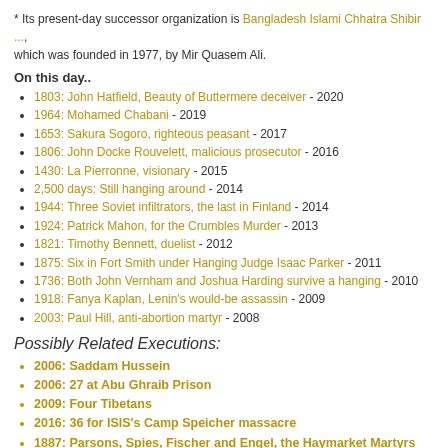* Its present-day successor organization is Bangladesh Islami Chhatra Shibir ..., which was founded in 1977, by Mir Quasem Ali.
On this day..
1803: John Hatfield, Beauty of Buttermere deceiver - 2020
1964: Mohamed Chabani - 2019
1653: Sakura Sogoro, righteous peasant - 2017
1806: John Docke Rouvelett, malicious prosecutor - 2016
1430: La Pierronne, visionary - 2015
2,500 days: Still hanging around - 2014
1944: Three Soviet infiltrators, the last in Finland - 2014
1924: Patrick Mahon, for the Crumbles Murder - 2013
1821: Timothy Bennett, duelist - 2012
1875: Six in Fort Smith under Hanging Judge Isaac Parker - 2011
1736: Both John Vernham and Joshua Harding survive a hanging - 2010
1918: Fanya Kaplan, Lenin's would-be assassin - 2009
2003: Paul Hill, anti-abortion martyr - 2008
Possibly Related Executions:
2006: Saddam Hussein
2006: 27 at Abu Ghraib Prison
2009: Four Tibetans
2016: 36 for ISIS's Camp Speicher massacre
1887: Parsons, Spies, Fischer and Engel, the Haymarket Martyrs
2012: Ajmal Kasab, 26/11 Mumbai terrorist
2010: Chemical Ali
Entry Filed under: 21st Century, Activists, Bangladesh, Businessmen, Capital Punishment, Crimes Against Humanity, Deaths...